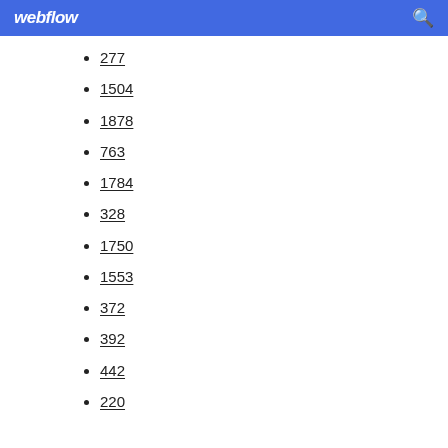webflow
277
1504
1878
763
1784
328
1750
1553
372
392
442
220